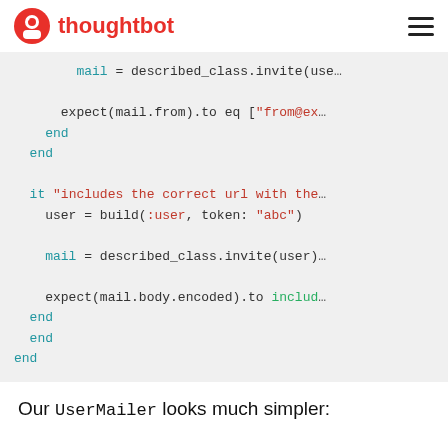thoughtbot
[Figure (screenshot): Code block showing Ruby RSpec test code with syntax highlighting. Contains: mail = described_class.invite(use... / expect(mail.from).to eq ["from@ex... / end / end / it "includes the correct url with the... / user = build(:user, token: "abc") / mail = described_class.invite(user) / expect(mail.body.encoded).to includ... / end / end / end]
Our UserMailer looks much simpler: